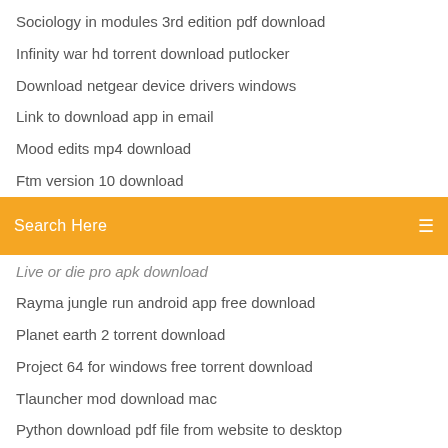Sociology in modules 3rd edition pdf download
Infinity war hd torrent download putlocker
Download netgear device drivers windows
Link to download app in email
Mood edits mp4 download
Ftm version 10 download
[Figure (screenshot): Orange search bar with text 'Search Here' and a menu icon on the right]
Live or die pro apk download
Rayma jungle run android app free download
Planet earth 2 torrent download
Project 64 for windows free torrent download
Tlauncher mod download mac
Python download pdf file from website to desktop
Download dll file fixer for pc
Acer aspire v3-575t driver download
Download unzip named file
Age of mythology full game download for pc
Quickbooks online download pc